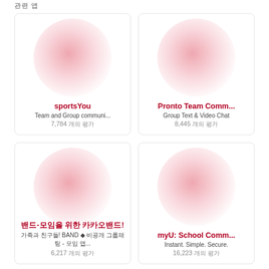관련 앱
[Figure (screenshot): App card for sportsYou with pink radial blob icon]
sportsYou
Team and Group communi...
7,784 개의 평가
[Figure (screenshot): App card for Pronto Team Comm... with pink radial blob icon]
Pronto Team Comm...
Group Text & Video Chat
8,445 개의 평가
[Figure (screenshot): App card for Korean-language app with pink radial blob icon]
밴드-모임을 위한 카카오밴드!
가족과 친구들! BAND ◆ 비공개 그룹채팅 - 모임 앱...
6,217 개의 평가
[Figure (screenshot): App card for myU: School Comm... with pink radial blob icon]
myU: School Comm...
Instant. Simple. Secure.
16,223 개의 평가